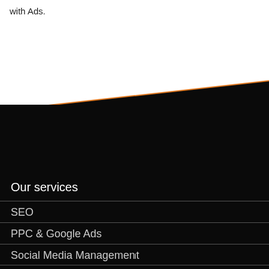with Ads.
[Figure (illustration): Diagonal orange line divider separating white section above from black section below]
Our services
SEO
PPC & Google Ads
Social Media Management
Web Design